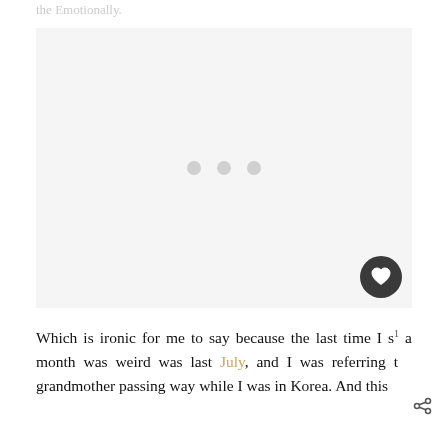the Emotionally.
[Figure (other): Advertisement placeholder box with light gray background and three gray dots centered in the middle]
Which is ironic for me to say because the last time I s[aw] a month was weird was last July, and I was referring t[o] my grandmother passing way while I was in Korea. And this